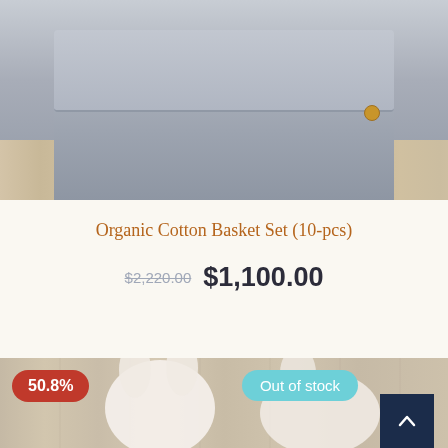[Figure (photo): Grey felt fabric basket/bag product photo on a light wood floor background]
Organic Cotton Basket Set (10-pcs)
$2,220.00 $1,100.00
[Figure (photo): Second product photo showing stuffed animal toys (bunny plush toys) on a wood background, with a 50.8% discount badge in red and an 'Out of stock' badge in teal, and a dark navy scroll-up button]